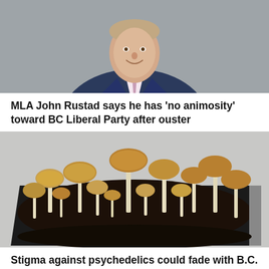[Figure (photo): A man in a navy blue suit with a pink tie, photographed from the chest up against a grey background. He is smiling.]
MLA John Rustad says he has 'no animosity' toward BC Liberal Party after ouster
[Figure (photo): A close-up photo of numerous psilocybin mushrooms growing in a dark container with soil, against a light background.]
Stigma against psychedelics could fade with B.C.